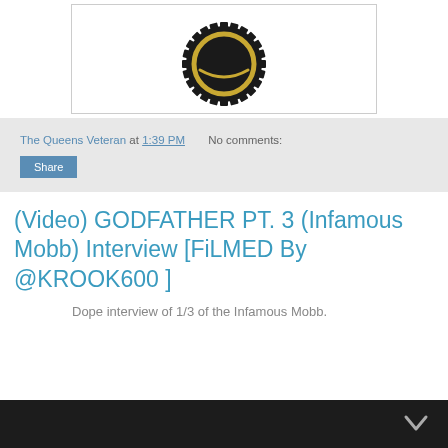[Figure (logo): Circular gear/cog logo with gold inner ring and black serrated outer edge on white background]
The Queens Veteran at 1:39 PM   No comments:
Share
(Video) GODFATHER PT. 3 (Infamous Mobb) Interview [FiLMED By @KROOK600 ]
Dope interview of 1/3 of the Infamous Mobb.
[Figure (photo): Black and white photo thumbnail at bottom of page with a chevron/arrow indicator]